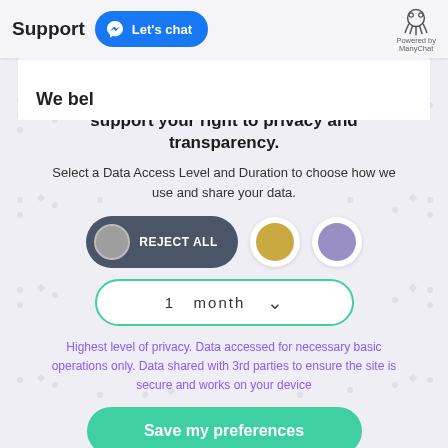Support   Let's chat   Powered by ManyChat
We bel
support your right to privacy and transparency.
Select a Data Access Level and Duration to choose how we use and share your data.
[Figure (infographic): Three option buttons in a row: 'REJECT ALL' dark pill-shaped toggle with grey circle on left, a gold circle button, and a purple circle button]
[Figure (infographic): Dropdown selector showing '1 month' with a downward chevron, bordered in teal/green]
Highest level of privacy. Data accessed for necessary basic operations only. Data shared with 3rd parties to ensure the site is secure and works on your device
Save my preferences